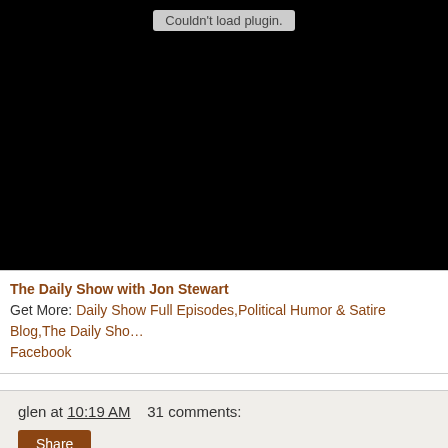[Figure (screenshot): Black video embed area showing 'Couldn't load plugin.' error message in gray box at top]
The Daily Show with Jon Stewart
Get More: Daily Show Full Episodes, Political Humor & Satire Blog, The Daily Show on Facebook
glen at 10:19 AM    31 comments:
Share
Santorum with Onion (Archive) #2
Santorum Contradicts McCain On ‘Enhanced Interrogation’
In a radio interview Tuesday, presidential hopeful Rick Santorum said he thinks